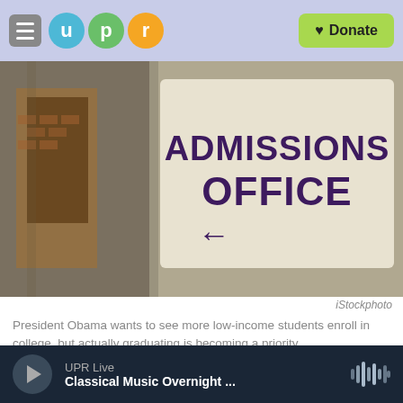UPR — Donate
[Figure (photo): An Admissions Office sign with a left-pointing arrow, next to a brick building backdrop.]
iStockphoto
President Obama wants to see more low-income students enroll in college, but actually graduating is becoming a priority.
Bryn Mawr College is located just outside Philadelphia, but every year the school goes looking for students in Boston.
UPR Live — Classical Music Overnight ...